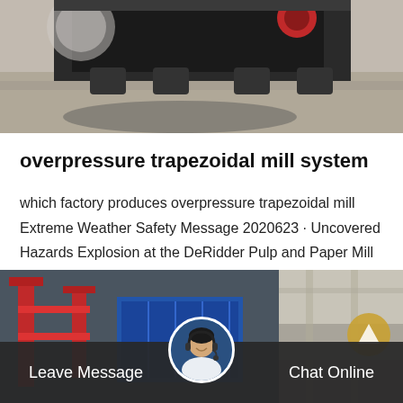[Figure (photo): Top portion of industrial machinery on a gravel/concrete surface, partial view showing undercarriage and equipment parts]
overpressure trapezoidal mill system
which factory produces overpressure trapezoidal mill Extreme Weather Safety Message 2020623 · Uncovered Hazards Explosion at the DeRidder Pulp and Paper Mill Animation of April 26 2018 Explosion and Fire at the Husky Energy Refinery in Superior…
[Figure (other): Get Price button (orange/amber rounded rectangle)]
[Figure (photo): Bottom image showing industrial machinery with red crane/gantry structures and a blue container, plus interior warehouse view on right side]
Leave Message   Chat Online